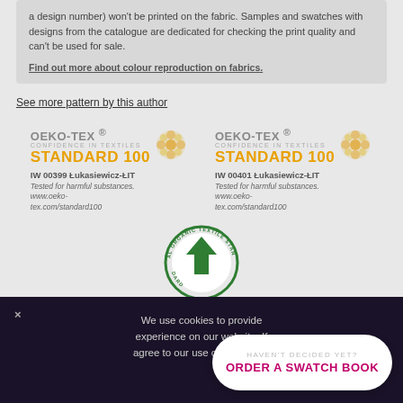a design number) won't be printed on the fabric. Samples and swatches with designs from the catalogue are dedicated for checking the print quality and can't be used for sale.
Find out more about colour reproduction on fabrics.
See more pattern by this author
[Figure (logo): OEKO-TEX STANDARD 100 certification badge with flower graphic. IW 00399 Łukasiewicz-ŁIT. Tested for harmful substances. www.oeko-tex.com/standard100]
[Figure (logo): OEKO-TEX STANDARD 100 certification badge with flower graphic. IW 00401 Łukasiewicz-ŁIT. Tested for harmful substances. www.oeko-tex.com/standard100]
[Figure (logo): Global Organic Textile Standard (GOTS) circular logo with green arrow upward icon]
We use cookies to provide experience on our website. If agree to our use of cookies. F
HAVEN'T DECIDED YET? ORDER A SWATCH BOOK